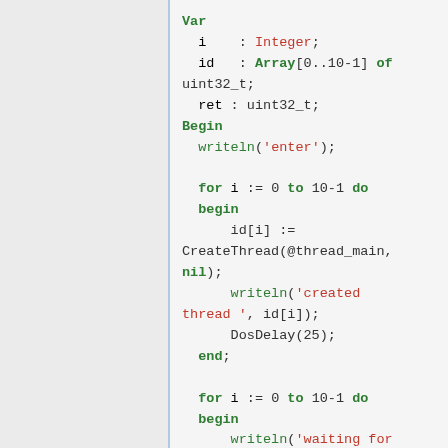[Figure (screenshot): Pascal/Delphi code snippet showing variable declarations and thread creation loop with Var, Begin, for loops, writeln, CreateThread, DosDelay, WaitThread calls]